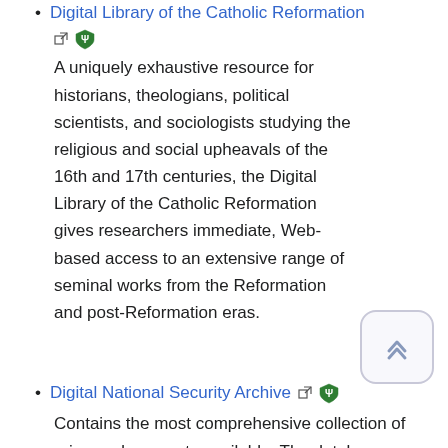Digital Library of the Catholic Reformation [link] [icon] A uniquely exhaustive resource for historians, theologians, political scientists, and sociologists studying the religious and social upheavals of the 16th and 17th centuries, the Digital Library of the Catholic Reformation gives researchers immediate, Web-based access to an extensive range of seminal works from the Reformation and post-Reformation eras.
Digital National Security Archive [ext-link] [icon] Contains the most comprehensive collection of primary documents available. The database includes more than 60,000 of the most important declassified documents regarding critical U.S. policy decisions...